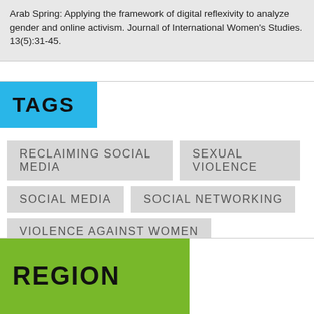Arab Spring: Applying the framework of digital reflexivity to analyze gender and online activism. Journal of International Women's Studies. 13(5):31-45.
TAGS
RECLAIMING SOCIAL MEDIA
SEXUAL VIOLENCE
SOCIAL MEDIA
SOCIAL NETWORKING
VIOLENCE AGAINST WOMEN
REGION